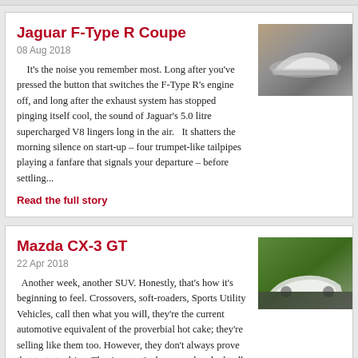Jaguar F-Type R Coupe
08 Aug 2018
It's the noise you remember most. Long after you've pressed the button that switches the F-Type R's engine off, and long after the exhaust system has stopped pinging itself cool, the sound of Jaguar's 5.0 litre supercharged V8 lingers long in the air.   It shatters the morning silence on start-up – four trumpet-like tailpipes playing a fanfare that signals your departure – before settling...
Read the full story
[Figure (photo): Jaguar F-Type R Coupe car photo, silver sports car on road]
Mazda CX-3 GT
22 Apr 2018
Another week, another SUV. Honestly, that's how it's beginning to feel. Crossovers, soft-roaders, Sports Utility Vehicles, call then what you will, they're the current automotive equivalent of the proverbial hot cake; they're selling like them too. However, they don't always prove that tasty to drive. They're practical, yes, and undoubtedly so in some cases, but exciting? Not really. Well, not...
Read the full story
[Figure (photo): Mazda CX-3 GT white car on green hillside road]